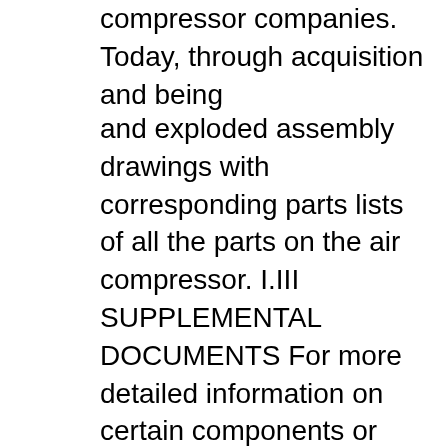compressor companies. Today, through acquisition and being
and exploded assembly drawings with corresponding parts lists of all the parts on the air compressor. I.III SUPPLEMENTAL DOCUMENTS For more detailed information on certain components or optional equipment specific to this compressor, supplemental documents are provided in addition to the standard compressor manual. and procedures in this manual or, misuse of this equipment will VOID its warranty! WARRANTY NOTICE PART NUMBER: KEEP FOR FUTURE REFERENCE USER MANUAL B©SULLAIR CORPORATION The information in this